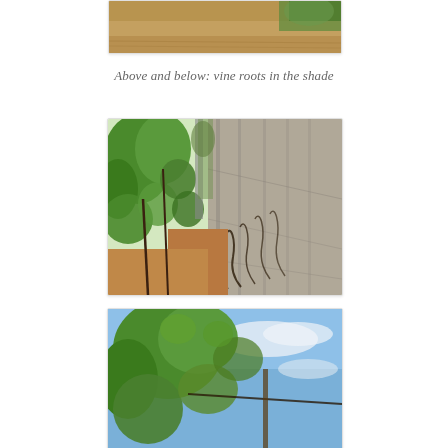[Figure (photo): Partial view of a vineyard showing soil and ground-level roots in shade, bottom portion of image cropped at top of page]
Above and below: vine roots in the shade
[Figure (photo): Vineyard row with green grapevine leaves on left and a long concrete/stone wall on the right, with curling dark vine roots visible along the wall base, brown soil path between]
[Figure (photo): Grapevine with green leaves against a blue sky with light clouds, partial view at bottom of page]